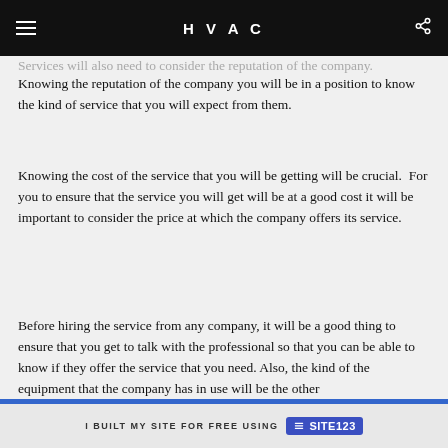HVAC
Services will also need to consider the reputation of the company. Knowing the reputation of the company you will be in a position to know the kind of service that you will expect from them.
Knowing the cost of the service that you will be getting will be crucial.  For you to ensure that the service you will get will be at a good cost it will be important to consider the price at which the company offers its service.
Before hiring the service from any company, it will be a good thing to ensure that you get to talk with the professional so that you can be able to know if they offer the service that you need. Also, the kind of the equipment that the company has in use will be the other
I BUILT MY SITE FOR FREE USING  SITE123